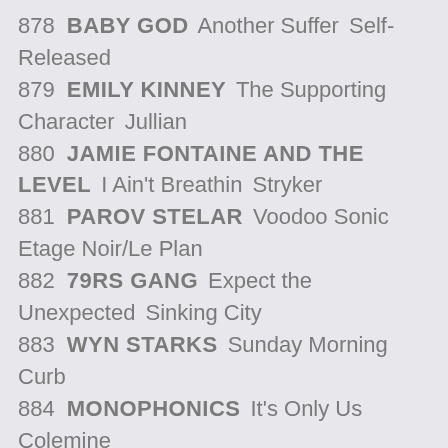878  BABY GOD  Another Suffer  Self-Released
879  EMILY KINNEY  The Supporting Character  Jullian
880  JAMIE FONTAINE AND THE LEVEL  I Ain't Breathin  Stryker
881  PAROV STELAR  Voodoo Sonic  Etage Noir/Le Plan
882  79RS GANG  Expect the Unexpected  Sinking City
883  WYN STARKS  Sunday Morning  Curb
884  MONOPHONICS  It's Only Us  Colemine
885  WAYLEY  Wayley  Birthday Cake
886  UDAE DOLONDON  Running  Ourmindentertainment
887  STARDUST MOTEL  Stardust Motel  Self-